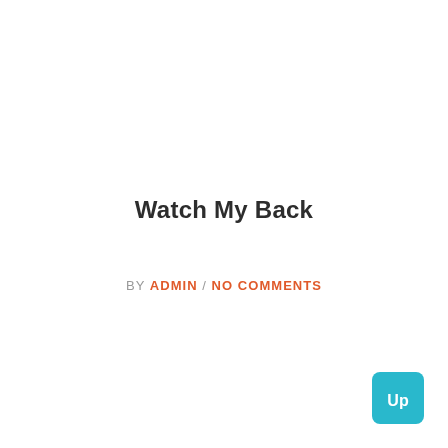Watch My Back
BY ADMIN / NO COMMENTS
[Figure (other): Teal/cyan rounded square button with white text 'Up' in the bottom-right corner]